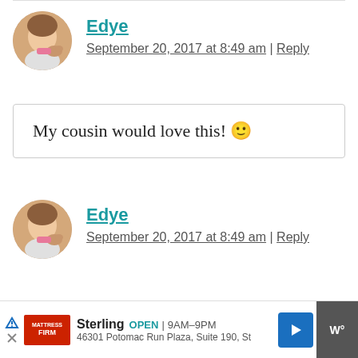[Figure (photo): Circular avatar photo of a woman with a dog]
Edye
September 20, 2017 at 8:49 am | Reply
My cousin would love this! 🙂
[Figure (photo): Circular avatar photo of a woman with a dog]
Edye
September 20, 2017 at 8:49 am | Reply
Mattress Firm Sterling OPEN 9AM–9PM 46301 Potomac Run Plaza, Suite 190, St